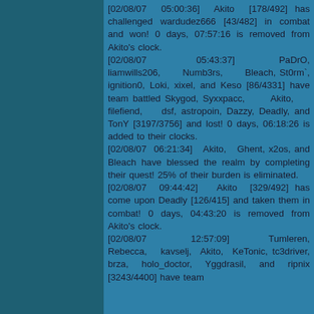[02/08/07 05:00:36] Akito [178/492] has challenged wardudez666 [43/482] in combat and won! 0 days, 07:57:16 is removed from Akito's clock.
[02/08/07 05:43:37] PaDrO, liamwills206, Numb3rs, Bleach, St0rm`, ignition0, Loki, xixel, and Keso [86/4331] have team battled Skygod, Syxxpacc, Akito, filefiend, dsf, astropoin, Dazzy, Deadly, and TonY [3197/3756] and lost! 0 days, 06:18:26 is added to their clocks.
[02/08/07 06:21:34] Akito, Ghent, x2os, and Bleach have blessed the realm by completing their quest! 25% of their burden is eliminated.
[02/08/07 09:44:42] Akito [329/492] has come upon Deadly [126/415] and taken them in combat! 0 days, 04:43:20 is removed from Akito's clock.
[02/08/07 12:57:09] Tumleren, Rebecca, kavselj, Akito, KeTonic, tc3driver, brza, holo_doctor, Yggdrasil, and ripnix [3243/4400] have team